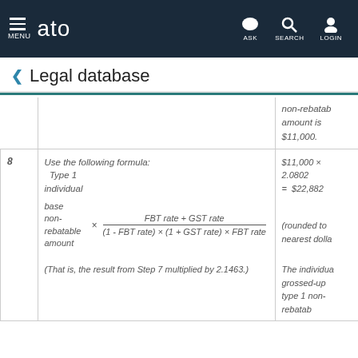MENU | ato | ASK | SEARCH | LOGIN
< Legal database
|  | Step | Example |
| --- | --- | --- |
|  |  | non-rebatable amount is $11,000. |
| 8 | Use the following formula:
Type 1 individual base non-rebatable amount × (FBT rate + GST rate) / ((1 - FBT rate) × (1 + GST rate) × FBT rate)
(That is, the result from Step 7 multiplied by 2.1463.) | $11,000 × 2.0802 = $22,882 (rounded to nearest dollar)
The individual grossed-up type 1 non-rebatable |